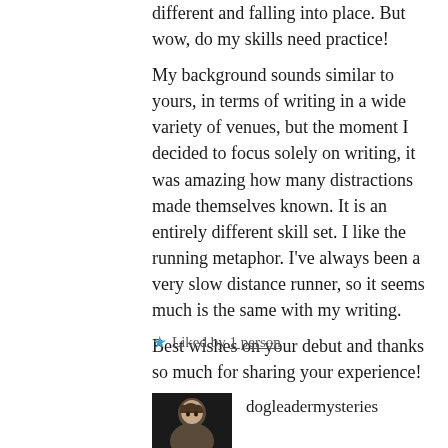different and falling into place. But wow, do my skills need practice!
My background sounds similar to yours, in terms of writing in a wide variety of venues, but the moment I decided to focus solely on writing, it was amazing how many distractions made themselves known. It is an entirely different skill set. I like the running metaphor. I've always been a very slow distance runner, so it seems much is the same with my writing.
Best wishes on your debut and thanks so much for sharing your experience!
★ Liked by 1 person
dogleadermysteries